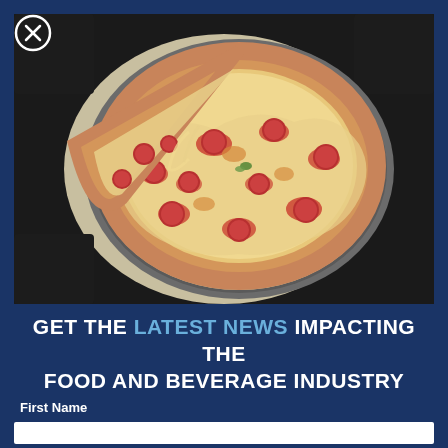[Figure (photo): Close-up photo of a pepperoni pizza on a round metal tray with parchment paper, one slice pulled away, on a dark surface. Overhead shot.]
GET THE LATEST NEWS IMPACTING THE FOOD AND BEVERAGE INDUSTRY
First Name